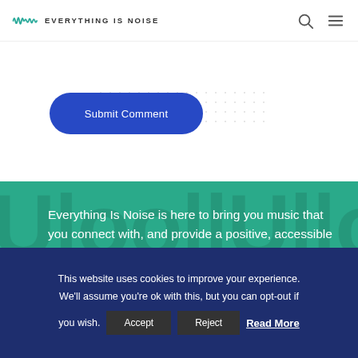EVERYTHING IS NOISE
Submit Comment
Everything Is Noise is here to bring you music that you connect with, and provide a positive, accessible space to discuss this
This website uses cookies to improve your experience. We'll assume you're ok with this, but you can opt-out if you wish. Accept Reject Read More